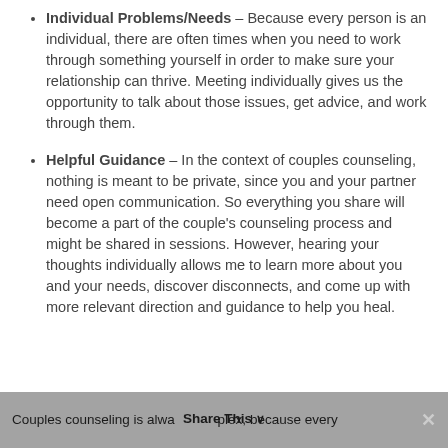Individual Problems/Needs – Because every person is an individual, there are often times when you need to work through something yourself in order to make sure your relationship can thrive. Meeting individually gives us the opportunity to talk about those issues, get advice, and work through them.
Helpful Guidance – In the context of couples counseling, nothing is meant to be private, since you and your partner need open communication. So everything you share will become a part of the couple's counseling process and might be shared in sessions. However, hearing your thoughts individually allows me to learn more about you and your needs, discover disconnects, and come up with more relevant direction and guidance to help you heal.
Couples counseling is always complex, because every